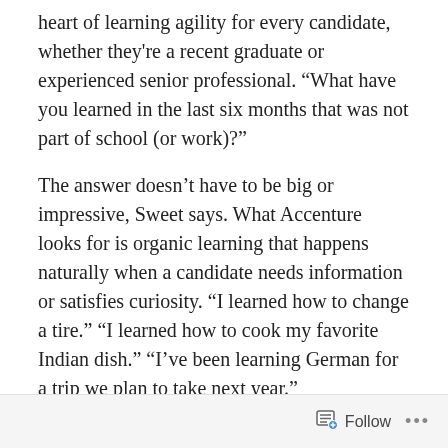heart of learning agility for every candidate, whether they're a recent graduate or experienced senior professional. “What have you learned in the last six months that was not part of school (or work)?”
The answer doesn't have to be big or impressive, Sweet says. What Accenture looks for is organic learning that happens naturally when a candidate needs information or satisfies curiosity. “I learned how to change a tire.” “I learned how to cook my favorite Indian dish.” “I’ve been learning German for a trip we plan to take next year.”
Julie Sweet says one of Accenture’s core principles is to “lead with excellence, confidence, and humility.” Humility starts with understanding you have a lot to learn. I once listened to a discussion between two global talent
Follow ···